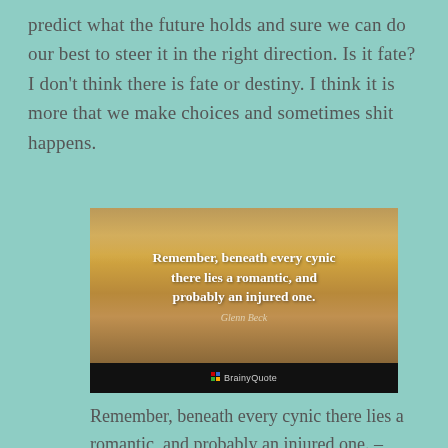predict what the future holds and sure we can do our best to steer it in the right direction. Is it fate? I don't think there is fate or destiny. I think it is more that we make choices and sometimes shit happens.
[Figure (illustration): A BrainyQuote image card with a desert/sand dune landscape background and golden sky. White bold text reads: 'Remember, beneath every cynic there lies a romantic, and probably an injured one.' with attribution 'Glenn Beck' below. A black footer bar with the BrainyQuote logo.]
Remember, beneath every cynic there lies a romantic, and probably an injured one. – Glenn Beck